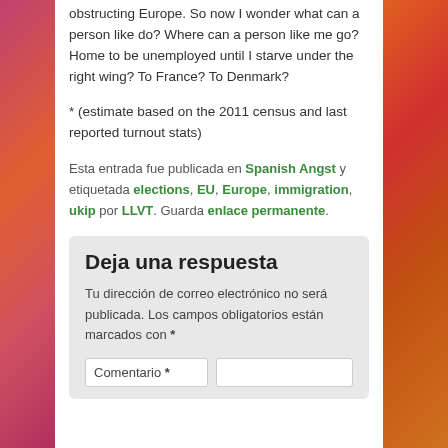obstructing Europe. So now I wonder what can a person like do? Where can a person like me go? Home to be unemployed until I starve under the right wing? To France? To Denmark?
* (estimate based on the 2011 census and last reported turnout stats)
Esta entrada fue publicada en Spanish Angst y etiquetada elections, EU, Europe, immigration, ukip por LLVT. Guarda enlace permanente.
Deja una respuesta
Tu dirección de correo electrónico no será publicada. Los campos obligatorios están marcados con *
Comentario *